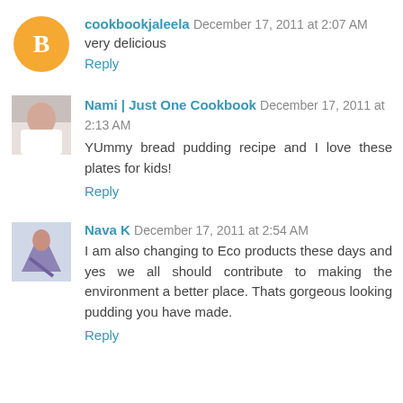cookbookjaleela December 17, 2011 at 2:07 AM
very delicious
Reply
Nami | Just One Cookbook December 17, 2011 at 2:13 AM
YUmmy bread pudding recipe and I love these plates for kids!
Reply
Nava K December 17, 2011 at 2:54 AM
I am also changing to Eco products these days and yes we all should contribute to making the environment a better place. Thats gorgeous looking pudding you have made.
Reply